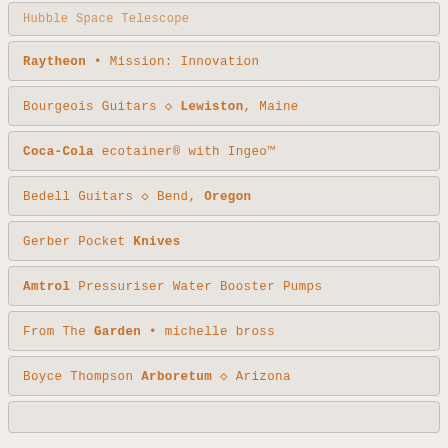Raytheon • Mission: Innovation
Bourgeois Guitars ◇ Lewiston, Maine
Coca-Cola ecotainer® with Ingeo™
Bedell Guitars ◇ Bend, Oregon
Gerber Pocket Knives
Amtrol Pressuriser Water Booster Pumps
From The Garden • michelle bross
Boyce Thompson Arboretum ◇ Arizona